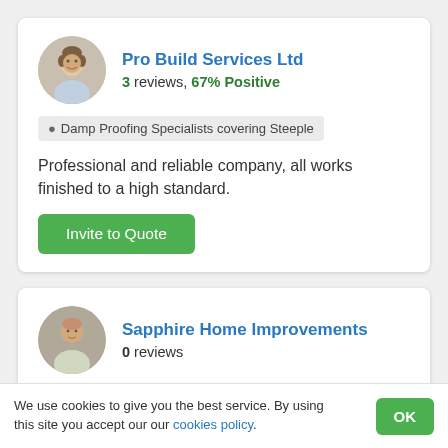Pro Build Services Ltd
3 reviews, 67% Positive
Damp Proofing Specialists covering Steeple
Professional and reliable company, all works finished to a high standard.
Invite to Quote
Sapphire Home Improvements
0 reviews
We use cookies to give you the best service. By using this site you accept our our cookies policy.